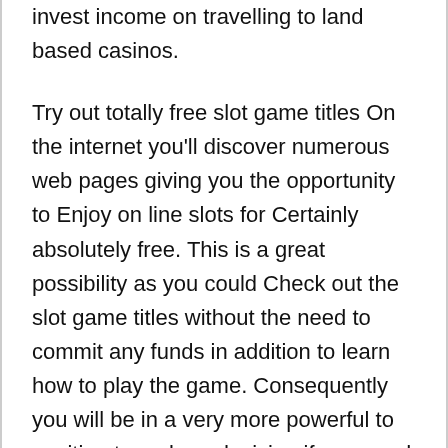invest income on travelling to land based casinos.
Try out totally free slot game titles On the internet you'll discover numerous web pages giving you the opportunity to Enjoy on line slots for Certainly absolutely free. This is a great possibility as you could Check out the slot game titles without the need to commit any funds in addition to learn how to play the game. Consequently you will be in a very more powerful to position to make a decision if you need to go on and gamble with genuine income.
Actively playing on the web slots You might think that actively playing a sport of on the net slots is sophisticated but in true fact It's not necessarily and right here from the web slots casino E...